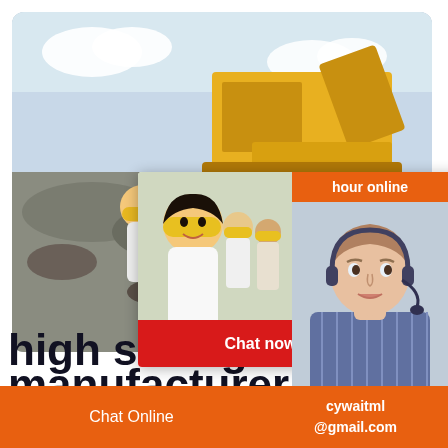[Figure (photo): Construction/mining machinery (yellow excavator/crusher) at a quarry site with workers in hard hats and white uniforms in the foreground, overlaid with a live chat popup widget]
hour online
LIVE CHAT
Click for a Free Consultation
Chat now
Chat later
Click to chat
Enquiry
high strength gypsum pa
manufacturer in
Chat Online   cywaitml @gmail.com